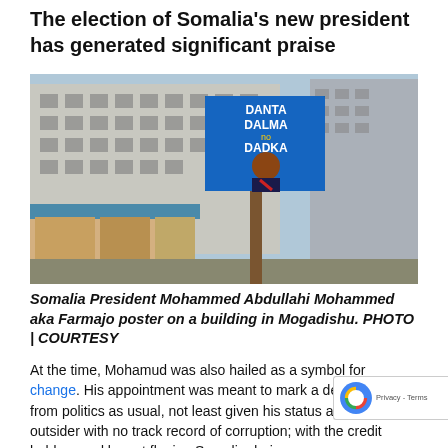The election of Somalia's new president has generated significant praise
[Figure (photo): A campaign billboard poster of Somalia President Mohammed Abdullahi Mohammed aka Farmajo on a building street scene in Mogadishu. The billboard shows a man in a suit with text 'DANTA DALMA DADKA'. Surrounding scene includes a worn multi-storey building, small shops, trees.]
Somalia President Mohammed Abdullahi Mohammed aka Farmajo poster on a building in Mogadishu. PHOTO | COURTESY
At the time, Mohamud was also hailed as a symbol for change. His appointment was meant to mark a departure from politics as usual, not least given his status as a political outsider with no track record of corruption; with the credit held earned by not fleeing Somalia during